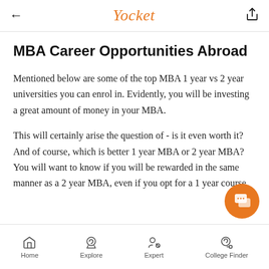Yocket
MBA Career Opportunities Abroad
Mentioned below are some of the top MBA 1 year vs 2 year universities you can enrol in. Evidently, you will be investing a great amount of money in your MBA.
This will certainly arise the question of - is it even worth it? And of course, which is better 1 year MBA or 2 year MBA? You will want to know if you will be rewarded in the same manner as a 2 year MBA, even if you opt for a 1 year course.
Home  Explore  Expert  College Finder